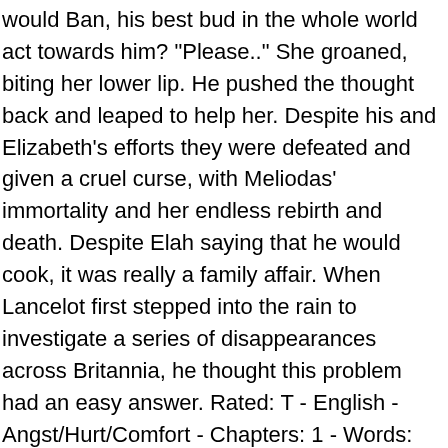would Ban, his best bud in the whole world act towards him? "Please.." She groaned, biting her lower lip. He pushed the thought back and leaped to help her. Despite his and Elizabeth's efforts they were defeated and given a cruel curse, with Meliodas' immortality and her endless rebirth and death. Despite Elah saying that he would cook, it was really a family affair. When Lancelot first stepped into the rain to investigate a series of disappearances across Britannia, he thought this problem had an easy answer. Rated: T - English - Angst/Hurt/Comfort - Chapters: 1 - Words: 2,103 - Favs: 1 - Follows: 1 - Published: Just a short little scene I imagined early in their journey together. He dropped his hand from the tree and started to step back. King looks at Meliodas in shock. Her eyes were sultry and half-closed.
It was inhumanly good, every taste bud in his mouth was worshiping the flavor. What's it supposed to do? His hands